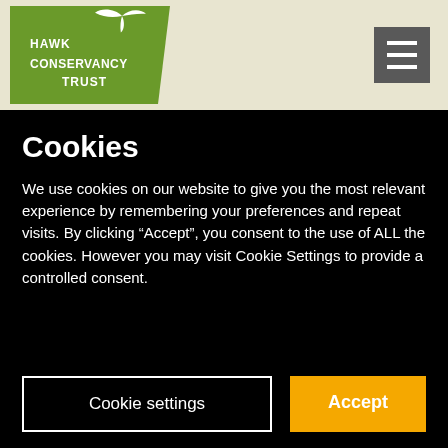[Figure (logo): Hawk Conservancy Trust logo: green trapezoid shape with white bird silhouette and white text reading HAWK CONSERVANCY TRUST]
[Figure (other): Hamburger menu icon: dark grey square with three white horizontal lines]
Cookies
We use cookies on our website to give you the most relevant experience by remembering your preferences and repeat visits. By clicking “Accept”, you consent to the use of ALL the cookies. However you may visit Cookie Settings to provide a controlled consent.
Cookie settings
Accept